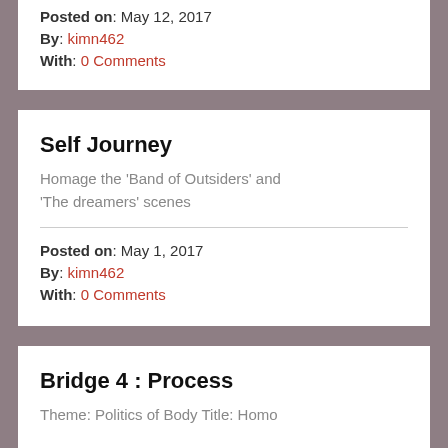Posted on: May 12, 2017
By: kimn462
With: 0 Comments
Self Journey
Homage the 'Band of Outsiders' and 'The dreamers' scenes
Posted on: May 1, 2017
By: kimn462
With: 0 Comments
Bridge 4: Process
Theme: Politics of Body Title: Homo